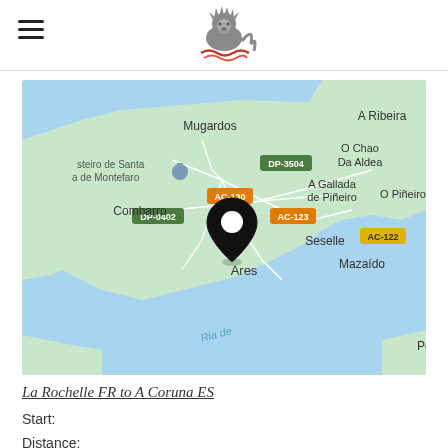[Figure (logo): Stylized lion/creature logo with red wave underneath, centered in header]
[Figure (map): Google Maps screenshot showing the area around Ares, Spain (A Coruña region). Map labels include: Mugardos, A Ribeira, Mosteiro de Santa María de Montefaro, O Chao Da Aldea, DP-3504, A Gallada de Piñeiro, O Piñeiro, Combarro, AC-130, DP-0402, AC-123, AC-122, Seselle, Mazaído, Ares (with location pin), Ria de, Po. Water areas shown in blue, land in light green.]
La Rochelle FR to A Coruna ES
Start:
Distance:
End:
Elapsed time: